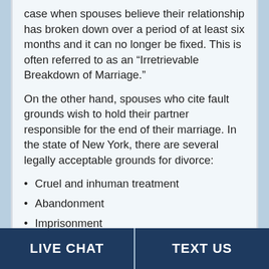case when spouses believe their relationship has broken down over a period of at least six months and it can no longer be fixed. This is often referred to as an "Irretrievable Breakdown of Marriage."
On the other hand, spouses who cite fault grounds wish to hold their partner responsible for the end of their marriage. In the state of New York, there are several legally acceptable grounds for divorce:
Cruel and inhuman treatment
Abandonment
Imprisonment
LIVE CHAT    TEXT US